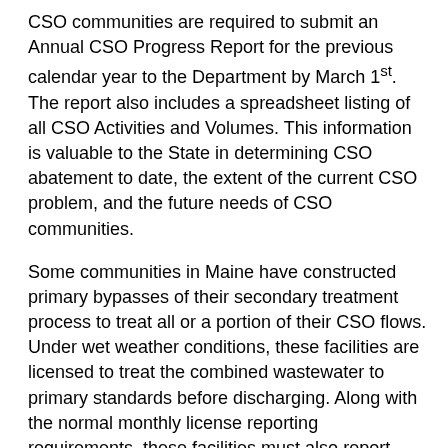CSO communities are required to submit an Annual CSO Progress Report for the previous calendar year to the Department by March 1st. The report also includes a spreadsheet listing of all CSO Activities and Volumes. This information is valuable to the State in determining CSO abatement to date, the extent of the current CSO problem, and the future needs of CSO communities.
Some communities in Maine have constructed primary bypasses of their secondary treatment process to treat all or a portion of their CSO flows. Under wet weather conditions, these facilities are licensed to treat the combined wastewater to primary standards before discharging. Along with the normal monthly license reporting requirements, these facilities must also report bypass flow activity to the Department on either the DEP-49-CSO Form For Use With Dedicated CSO Primary Clarifiers or the DEP-49-CSO Form For Use With Non-Dedicated CSO Primary Clarifiers.